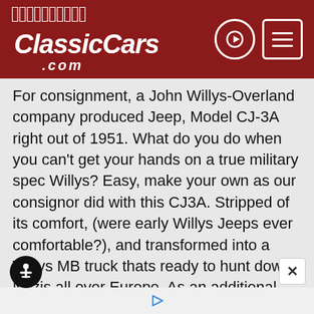ClassicCars.com
For consignment, a John Willys-Overland company produced Jeep, Model CJ-3A right out of 1951. What do you do when you can't get your hands on a true military spec Willys? Easy, make your own as our consignor did with this CJ3A. Stripped of its comfort, (were early Willys Jeeps ever comfortable?), and transformed into a Willys MB truck thats ready to hunt down Nazis all over Europe. As an additional bonus, a Bantam trailer is included to haul whatever you may need on your mission. So get your gear on Private and follow my lead as we march over, under, around and through this one of a kind Willys of yore and with any luck we won't get you baptized by fire on this mission.